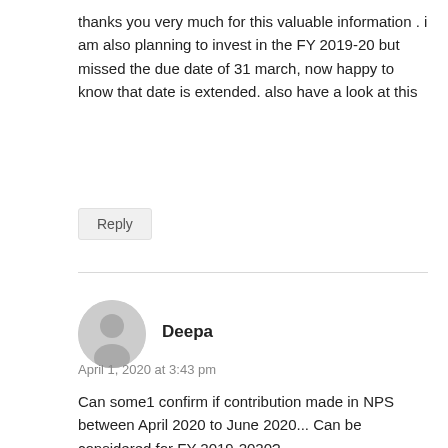thanks you very much for this valuable information . i am also planning to invest in the FY 2019-20 but missed the due date of 31 march, now happy to know that date is extended. also have a look at this
Reply
Deepa
April 1, 2020 at 3:43 pm
Can some1 confirm if contribution made in NPS between April 2020 to June 2020... Can be considered for FY 2019-2020?